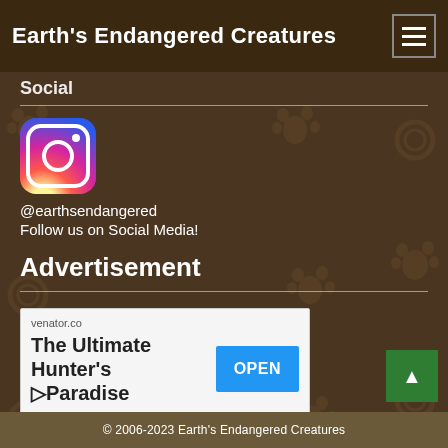Earth's Endangered Creatures
Social
[Figure (logo): Instagram logo icon with gradient background (purple to orange)]
@earthsendangered
Follow us on Social Media!
Advertisement
[Figure (screenshot): Advertisement banner for venator.co showing 'The Ultimate Hunter's Paradise' with an OPEN button]
© 2006-2023 Earth's Endangered Creatures